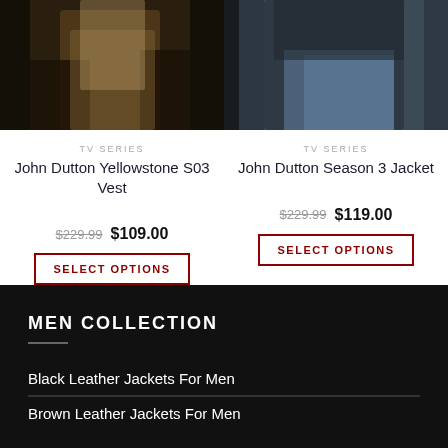[Figure (photo): Person wearing a vest, dark background, Yellowstone TV series promotional image]
TV SERIES
John Dutton Yellowstone S03 Vest
$229.99  $109.00
SELECT OPTIONS
[Figure (photo): Person wearing a dark jacket, jeans, seated, Yellowstone TV series promotional image]
TV SERIES
John Dutton Season 3 Jacket
$229.99  $119.00
SELECT OPTIONS
MEN COLLECTION
Black Leather Jackets For Men
Brown Leather Jackets For Men